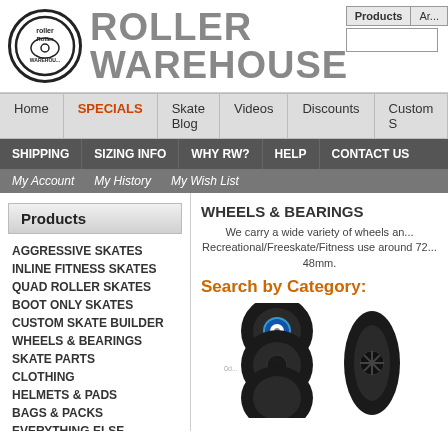[Figure (logo): Roller Warehouse logo with circular badge and large stylized brand name text]
Products | Ar...
Home
SPECIALS
Skate Blog
Videos
Discounts
Custom S...
SHIPPING
SIZING INFO
WHY RW?
HELP
CONTACT US
My Account
My History
My Wish List
Products
AGGRESSIVE SKATES
INLINE FITNESS SKATES
QUAD ROLLER SKATES
BOOT ONLY SKATES
CUSTOM SKATE BUILDER
WHEELS & BEARINGS
SKATE PARTS
CLOTHING
HELMETS & PADS
BAGS & PACKS
EVERYTHING ELSE
SKATES UNDER $150
WHEELS & BEARINGS
We carry a wide variety of wheels and bearings. Recreational/Freeskate/Fitness use around 72... 48mm.
Search by Category:
[Figure (photo): Product photo showing inline skate wheels (black) stacked with a bearing, and a black aggressive skate wheel/core]